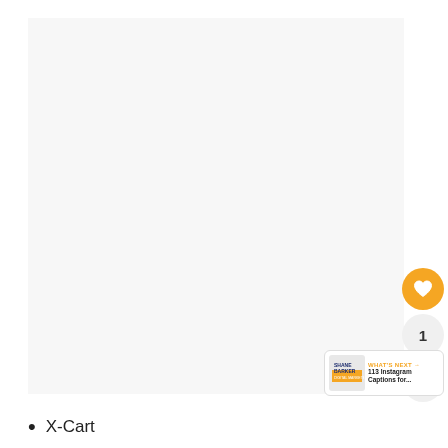[Figure (other): Large light gray blank image area, likely a placeholder for a product or content image]
[Figure (other): Yellow circular heart/favorite button icon, share button icon, and count badge showing '1', plus a 'What's Next' banner with Shane Barker logo and text '113 Instagram Captions for...']
X-Cart